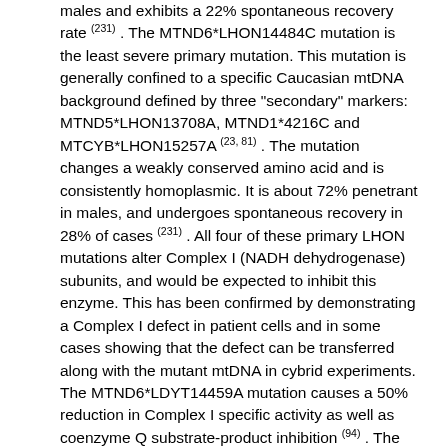males and exhibits a 22% spontaneous recovery rate (231) . The MTND6*LHON14484C mutation is the least severe primary mutation. This mutation is generally confined to a specific Caucasian mtDNA background defined by three "secondary" markers: MTND5*LHON13708A, MTND1*4216C and MTCYB*LHON15257A (23, 81) . The mutation changes a weakly conserved amino acid and is consistently homoplasmic. It is about 72% penetrant in males, and undergoes spontaneous recovery in 28% of cases (231) . All four of these primary LHON mutations alter Complex I (NADH dehydrogenase) subunits, and would be expected to inhibit this enzyme. This has been confirmed by demonstrating a Complex I defect in patient cells and in some cases showing that the defect can be transferred along with the mutant mtDNA in cybrid experiments. The MTND6*LDYT14459A mutation causes a 50% reduction in Complex I specific activity as well as coenzyme Q substrate-product inhibition (94) . The MTND4*LHON11778A is associated with a reduction in respiration of NADH-linked substrates (111) and a partial reduction in Complex I activity (206, 221) . It is also associated with altered coenzyme Q and rotenone binding (52) . The